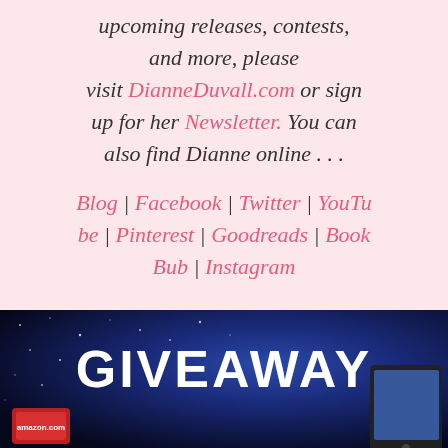upcoming releases, contests, and more, please visit DianneDuvall.com or sign up for her Newsletter. You can also find Dianne online . . .
Blog | Facebook | Twitter | YouTube | Pinterest | Goodreads | Book Bub | Instagram
[Figure (photo): Dark space/galaxy background banner with the word GIVEAWAY in large bold white text, with what appears to be a gift card on the left and a tablet device on the right]